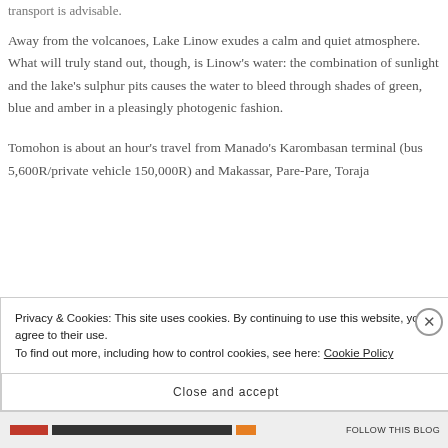transport is advisable.
Away from the volcanoes, Lake Linow exudes a calm and quiet atmosphere. What will truly stand out, though, is Linow’s water: the combination of sunlight and the lake’s sulphur pits causes the water to bleed through shades of green, blue and amber in a pleasingly photogenic fashion.
Tomohon is about an hour’s travel from Manado’s Karombasan terminal (bus 5,600R/private vehicle 150,000R) and Makassar, Pare-Pare, Toraja
Privacy & Cookies: This site uses cookies. By continuing to use this website, you agree to their use.
To find out more, including how to control cookies, see here: Cookie Policy
Close and accept